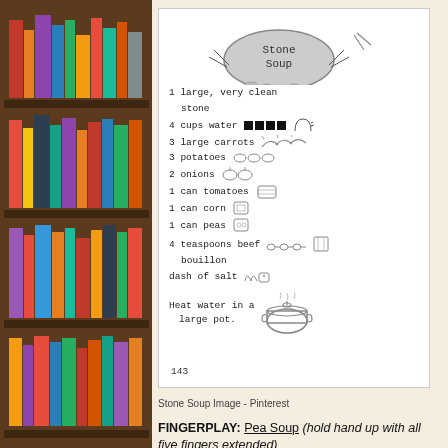[Figure (illustration): Bookshelf with colorful books on left side of page]
[Figure (illustration): Stone Soup recipe card illustration with hand-drawn text and small food drawings. Shows title 'Stone Soup' on a rock, then list: 1 large very clean stone, 4 cups water (with black squares and pitcher drawing), 3 large carrots (with carrot illustrations), 3 potatoes (with potato illustrations), 2 onions (with onion illustrations), 1 can tomatoes (with can illustration), 1 can corn (with can illustration), 1 can peas (with can illustration), 4 teaspoons beef bouillon (with spoon and box illustrations), dash of salt (with shaker illustration). Then 'Heat water in a large pot.' with a pot illustration. Page number 143 at bottom.]
Stone Soup Image - Pinterest
FINGERPLAY: Pea Soup (hold hand up with all five fingers extended)